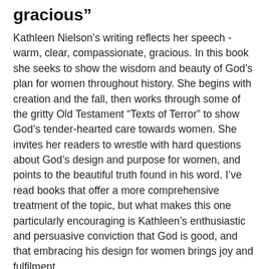gracious”
Kathleen Nielson’s writing reflects her speech - warm, clear, compassionate, gracious. In this book she seeks to show the wisdom and beauty of God’s plan for women throughout history. She begins with creation and the fall, then works through some of the gritty Old Testament “Texts of Terror” to show God’s tender-hearted care towards women. She invites her readers to wrestle with hard questions about God’s design and purpose for women, and points to the beautiful truth found in his word. I’ve read books that offer a more comprehensive treatment of the topic, but what makes this one particularly encouraging is Kathleen’s enthusiastic and persuasive conviction that God is good, and that embracing his design for women brings joy and fulfilment.